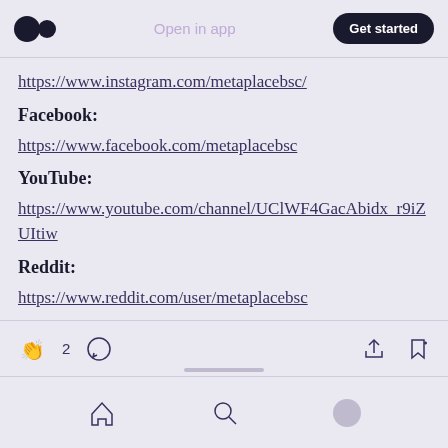Open in app | Get started
https://www.instagram.com/metaplacebsc/
Facebook:
https://www.facebook.com/metaplacebsc
YouTube:
https://www.youtube.com/channel/UClWF4GacAbidx_r9iZUItiw
Reddit:
https://www.reddit.com/user/metaplacebsc
👏 2  comment  share  bookmark